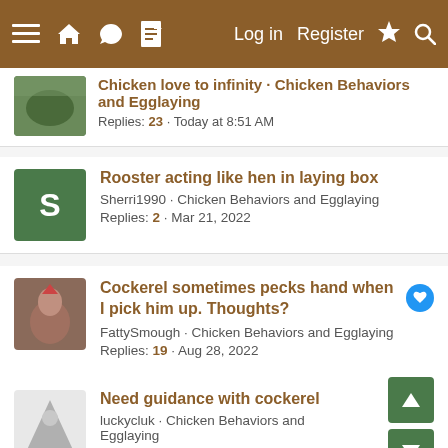≡ 🏠 💬 📄   Log in   Register   ⚡ 🔍
Chicken love to infinity · Chicken Behaviors and Egglaying
Replies: 23 · Today at 8:51 AM
Rooster acting like hen in laying box
Sherri1990 · Chicken Behaviors and Egglaying
Replies: 2 · Mar 21, 2022
Cockerel sometimes pecks hand when I pick him up. Thoughts?
FattySmough · Chicken Behaviors and Egglaying
Replies: 19 · Aug 28, 2022
Need guidance with cockerel
luckycluk · Chicken Behaviors and Egglaying
Replies: 6 · Aug 9, 2022
Share:
< Chicken Behaviors and Egglaying